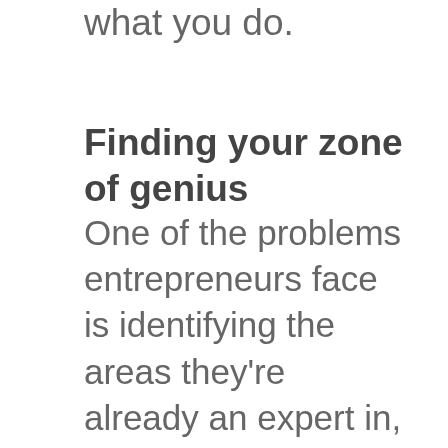what you do.
Finding your zone of genius
One of the problems entrepreneurs face is identifying the areas they're already an expert in, and figuring out how to position themselves. To overcome this, make a list of all the things you're knowledgeable about. Then narrow it down and consider which of these areas might be valuable to others, but also, how motivated you are in